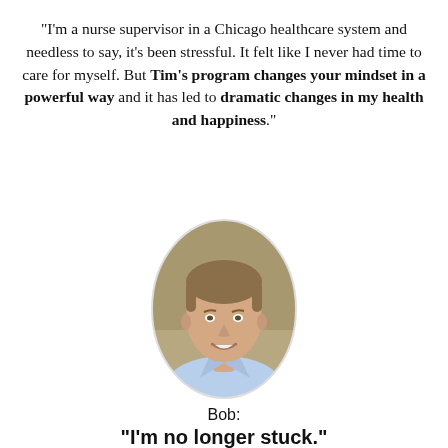"I'm a nurse supervisor in a Chicago healthcare system and needless to say, it's been stressful. It felt like I never had time to care for myself. But Tim's program changes your mindset in a powerful way and it has led to dramatic changes in my health and happiness."
[Figure (photo): Oval-framed portrait photo of a middle-aged man with brown hair, smiling, wearing a light blue collared shirt, against a warm tan/olive background.]
Bob:
"I'm no longer stuck."